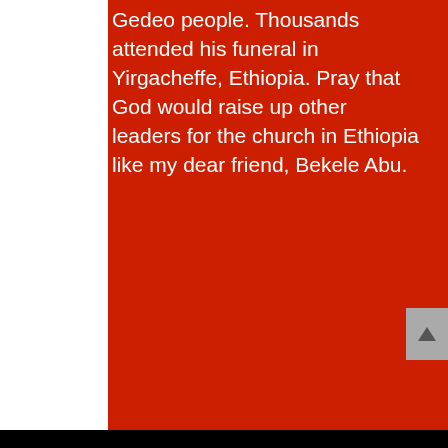Gedeo people. Thousands attended his funeral in Yirgacheffe, Ethiopia. Pray that God would raise up other leaders for the church in Ethiopia like my dear friend, Bekele Abu.
[Figure (photo): A man and a woman leaning on a surface, smiling at the camera, with a dramatic cloudy sky and open landscape in the background. The man wears a dark cap and black t-shirt; the woman has blonde hair and a patterned top.]